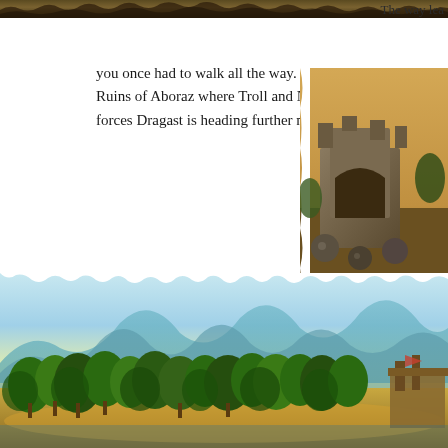[Figure (screenshot): Top banner screenshot from a video game (World of Warcraft), showing a dark greenish-brown landscape strip at the top of the page]
The way lea
you once had to walk all the way. Passing the Ruins of Aboraz where Troll and Naga have joined forces Dragast is heading further north.
[Figure (screenshot): Side screenshot from a video game showing ancient stone ruins with large stone cannonballs, troll/naga themed architecture]
Crossing the land again, the last stop on the way out is an area called The Vile Reef. It lies off the western coast of Stranglethorn in the Great Sea. When Dragast was young and needed the money… he came here often to search for large shells in the reef. The shells can hold Blue Pearls which once so significant amount of money (for a low-level character, that is!)
[Figure (screenshot): Wide panoramic screenshot from a video game (World of Warcraft) showing a lush jungle/forest landscape with trees, sandy beach, a structure on the right side, mountains and sky in the background]